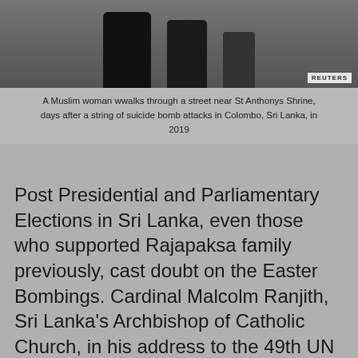[Figure (photo): A Muslim woman walking through a street near St Anthonys Shrine, days after suicide bomb attacks in Colombo, Sri Lanka, 2019. Reuters watermark visible in bottom right.]
A Muslim woman wwalks through a street near St Anthonys Shrine, days after a string of suicide bomb attacks in Colombo, Sri Lanka, in 2019
Post Presidential and Parliamentary Elections in Sri Lanka, even those who supported Rajapaksa family previously, cast doubt on the Easter Bombings. Cardinal Malcolm Ranjith, Sri Lanka's Archbishop of Catholic Church, in his address to the 49th UN Human Rights Council in Geneva, openly said 'Easter massacre was part of a grand political plot' although the first impression was that, it was the work of Islamic extremists.